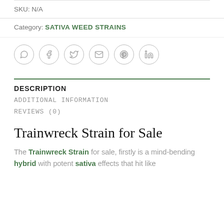SKU: N/A
Category: SATIVA WEED STRAINS
[Figure (infographic): Row of six social media share icons in circles: WhatsApp, Facebook, Twitter, Email, Pinterest, LinkedIn]
DESCRIPTION
ADDITIONAL INFORMATION
REVIEWS (0)
Trainwreck Strain for Sale
The Trainwreck Strain for sale, firstly is a mind-bending hybrid with potent sativa effects that hit like